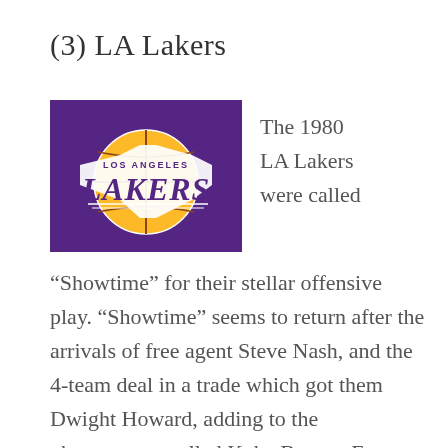(3) LA Lakers
[Figure (logo): LA Lakers official logo — purple background with gold and white Lakers wordmark and basketball graphic]
The 1980 LA Lakers were called
“Showtime” for their stellar offensive play. “Showtime” seems to return after the arrivals of free agent Steve Nash, and the 4-team deal in a trade which got them Dwight Howard, adding to the phenomenon called Kobe Bryant. Expect them to be competitive,